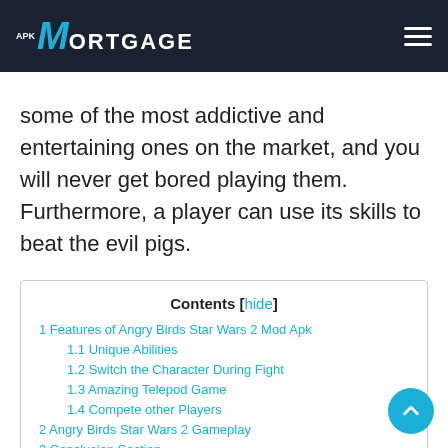APK Mortgage
some of the most addictive and entertaining ones on the market, and you will never get bored playing them. Furthermore, a player can use its skills to beat the evil pigs.
| 1 Features of Angry Birds Star Wars 2 Mod Apk |
| 1.1 Unique Abilities |
| 1.2 Switch the Character During Fight |
| 1.3 Amazing Telepod Game |
| 1.4 Compete other Players |
| 2 Angry Birds Star Wars 2 Gameplay |
| 3 Conclusion Section |
| 4 Frequently Asked Questions |
| 4.1 Why were Angry Birds Star Wars 2 removed? |